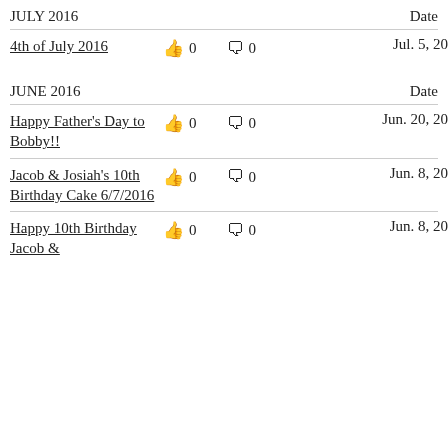JULY 2016    Date
4th of July 2016 | likes: 0 | comments: 0 | Jul. 5, 2016
JUNE 2016    Date
Happy Father's Day to Bobby!! | likes: 0 | comments: 0 | Jun. 20, 2016
Jacob & Josiah's 10th Birthday Cake 6/7/2016 | likes: 0 | comments: 0 | Jun. 8, 2016
Happy 10th Birthday Jacob & | likes: 0 | comments: 0 | Jun. 8, 2016